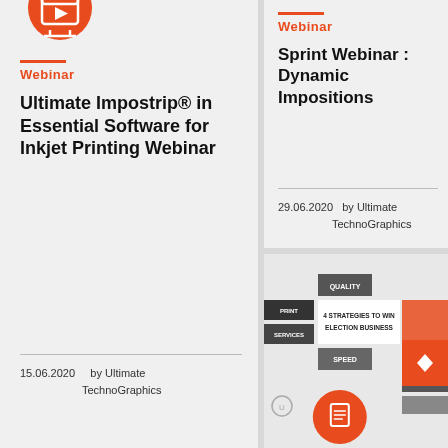[Figure (illustration): Orange circle with laptop/play icon at top of left card]
Webinar
Ultimate Impostrip® in Essential Software for Inkjet Printing Webinar
15.06.2020    by Ultimate TechnoGraphics
Webinar
Sprint Webinar : Dynamic Impositions
29.06.2020    by Ultimate TechnoGraphics
[Figure (screenshot): Infographic showing 4 strategies to win election business with quality, pricing, speed labels and an orange arrow button]